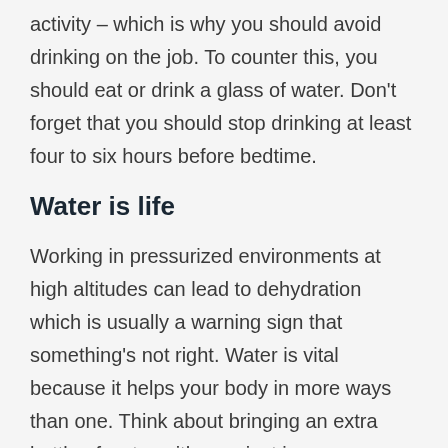activity – which is why you should avoid drinking on the job. To counter this, you should eat or drink a glass of water. Don't forget that you should stop drinking at least four to six hours before bedtime.
Water is life
Working in pressurized environments at high altitudes can lead to dehydration which is usually a warning sign that something's not right. Water is vital because it helps your body in more ways than one. Think about bringing an extra bottle of water with you, just in case.